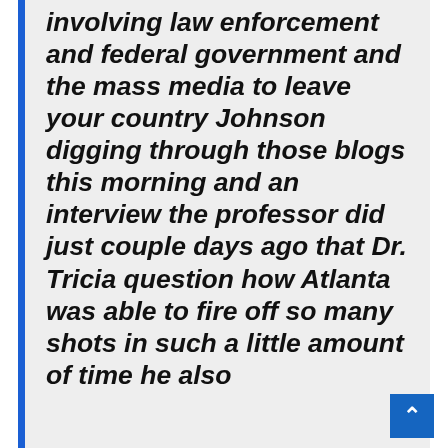involving law enforcement and federal government and the mass media to leave your country Johnson digging through those blogs this morning and an interview the professor did just couple days ago that Dr. Tricia question how Atlanta was able to fire off so many shots in such a little amount of time he also
WFLX (FOX)1/9/2013 6:12:07 AM
West Palm Beach, FL